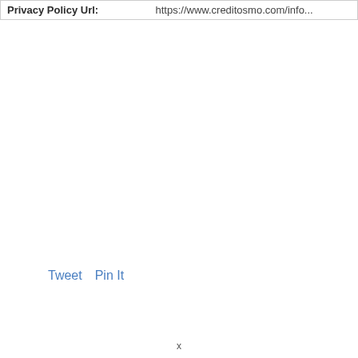| Privacy Policy Url | https://www.creditosmo.com/info... |
| --- | --- |
Tweet   Pin It
x